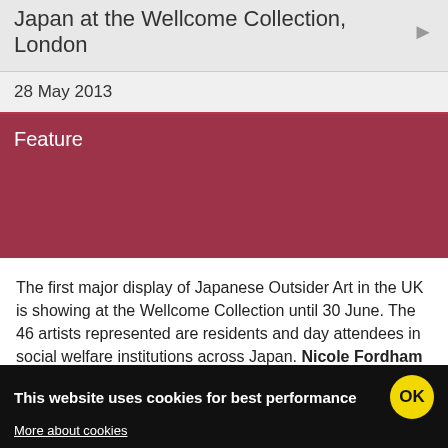Japan at the Wellcome Collection, London
28 May 2013
Feature
The first major display of Japanese Outsider Art in the UK is showing at the Wellcome Collection until 30 June. The 46 artists represented are residents and day attendees in social welfare institutions across Japan. Nicole Fordham Hodges went to see and experience the power which is 'Souzou'.
This website uses cookies for best performance   OK   More about cookies